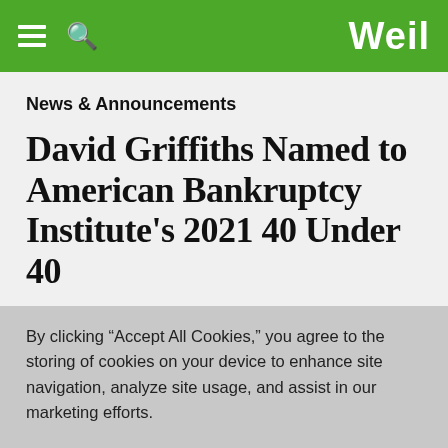Weil
News & Announcements
David Griffiths Named to American Bankruptcy Institute's 2021 40 Under 40
By clicking “Accept All Cookies,” you agree to the storing of cookies on your device to enhance site navigation, analyze site usage, and assist in our marketing efforts.